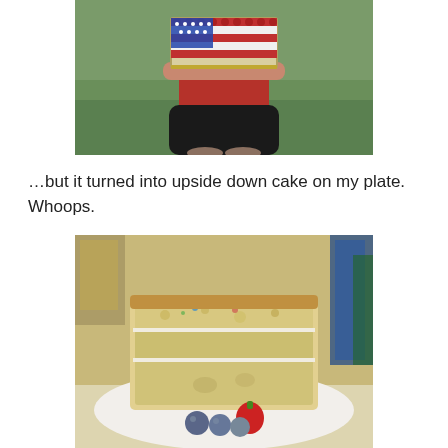[Figure (photo): A person in a red shirt and black skirt holding a rectangular cake decorated with an American flag design (red, white and berry rows), outdoors on grass.]
…but it turned into upside down cake on my plate. Whoops.
[Figure (photo): A slice of white/yellow cake turned upside down on a white plate, with strawberries and blueberries visible, food items in background.]